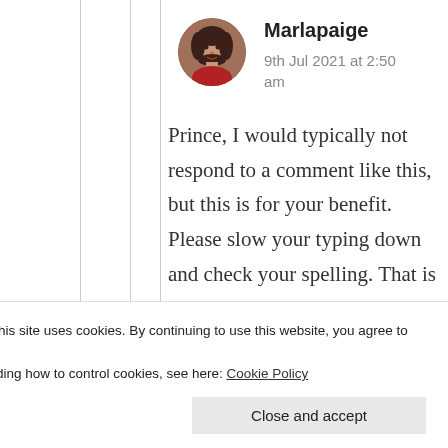[Figure (photo): Circular avatar photo of user Marlapaige, a woman with dark hair]
Marlapaige
9th Jul 2021 at 2:50 am
Prince, I would typically not respond to a comment like this, but this is for your benefit. Please slow your typing down and check your spelling. That is a typo…
Privacy & Cookies: This site uses cookies. By continuing to use this website, you agree to their use.
To find out more, including how to control cookies, see here: Cookie Policy
Close and accept
intention because you are